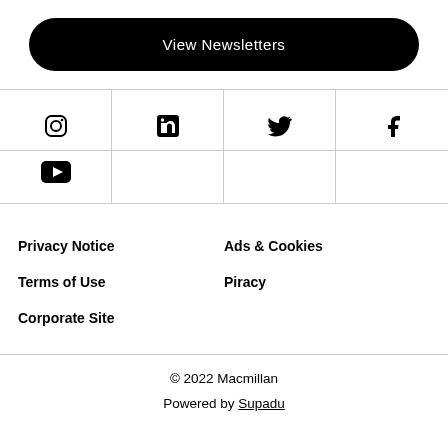View Newsletters
[Figure (other): Social media icons: Instagram, LinkedIn, Twitter, Facebook, YouTube]
Privacy Notice
Ads & Cookies
Terms of Use
Piracy
Corporate Site
© 2022 Macmillan
Powered by Supadu